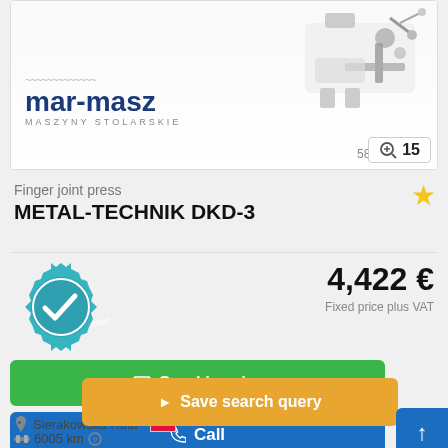[Figure (photo): Product listing image showing a finger joint press machine with mar-masz MASZYNY STOLARSKIE logo, image count 582, and zoom button showing 15]
Finger joint press
METAL-TECHNIK DKD-3
[Figure (logo): Certified Dealer badge - teal gear shape with checkmark]
4,422 €
Fixed price plus VAT
Send inquiry
Call
Save search query
Sierakowska Huta
6005 km